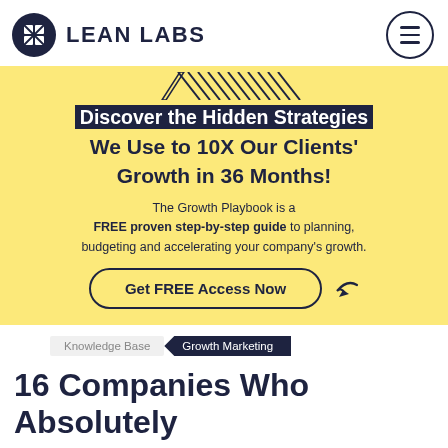LEAN LABS
Discover the Hidden Strategies We Use to 10X Our Clients' Growth in 36 Months!
The Growth Playbook is a FREE proven step-by-step guide to planning, budgeting and accelerating your company's growth.
Get FREE Access Now
Knowledge Base  Growth Marketing
16 Companies Who Absolutely